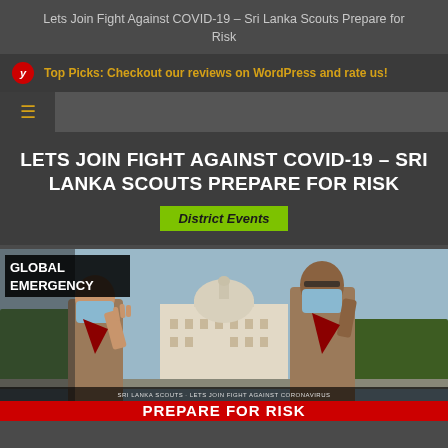Lets Join Fight Against COVID-19 – Sri Lanka Scouts Prepare for Risk
Top Picks: Checkout our reviews on WordPress and rate us!
LETS JOIN FIGHT AGAINST COVID-19 – SRI LANKA SCOUTS PREPARE FOR RISK
District Events
[Figure (photo): Two Sri Lanka Scouts in uniform wearing blue face masks doing the scout salute in front of a building. Text overlay says GLOBAL EMERGENCY. Red banner at bottom reads PREPARE FOR RISK. Sub-banner reads SRI LANKA SCOUTS · LETS JOIN FIGHT AGAINST CORONAVIRUS.]